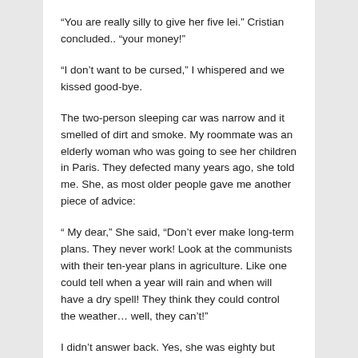“You are really silly to give her five lei.” Cristian concluded.. “your money!”
“I don’t want to be cursed,” I whispered and we kissed good-bye.
The two-person sleeping car was narrow and it smelled of dirt and smoke. My roommate was an elderly woman who was going to see her children in Paris. They defected many years ago, she told me. She, as most older people gave me another piece of advice:
“ My dear,” She said, “Don’t ever make long-term plans. They never work! Look at the communists with their ten-year plans in agriculture. Like one could tell when a year will rain and when will have a dry spell! They think they could control the weather… well, they can’t!”
I didn’t answer back. Yes, she was eighty but who could be sure she wasn’t provoking me to say something about the government and then they will come on the train and